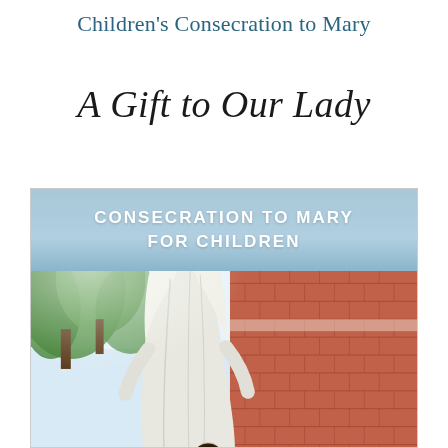Children's Consecration to Mary
A Gift to Our Lady
[Figure (photo): Book cover showing a white statue of Mary with a child standing beside it, in front of a red brick church building with green trees in the background. A light blue banner at the top reads 'CONSECRATION TO MARY FOR CHILDREN' in white bold text.]